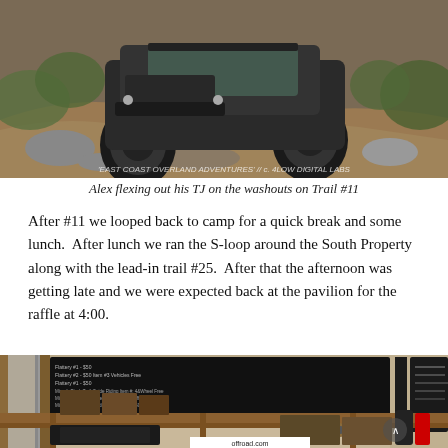[Figure (photo): Off-road vehicle (Jeep TJ) flexing on rocky washout terrain on Trail #11, with watermark 'East Coast Overland Adventures // c. 4Low Digital Labs']
Alex flexing out his TJ on the washouts on Trail #11
After #11 we looped back to camp for a quick break and some lunch.  After lunch we ran the S-loop around the South Property along with the lead-in trail #25.  After that the afternoon was getting late and we were expected back at the pavilion for the raffle at 4:00.
[Figure (photo): Interior of a pavilion/barn with wooden shelving displaying raffle prizes including boxes and equipment, and a large black chalkboard with event schedule in the background. A banner partially reading 'offroad.com' is visible.]